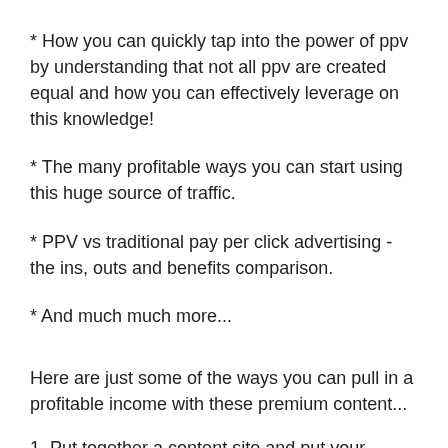* How you can quickly tap into the power of ppv by understanding that not all ppv are created equal and how you can effectively leverage on this knowledge!
* The many profitable ways you can start using this huge source of traffic.
* PPV vs traditional pay per click advertising - the ins, outs and benefits comparison.
* And much much more...
Here are just some of the ways you can pull in a profitable income with these premium content...
1. Put together a content site and put your Google Adsense code into the pages for hands free Adsense